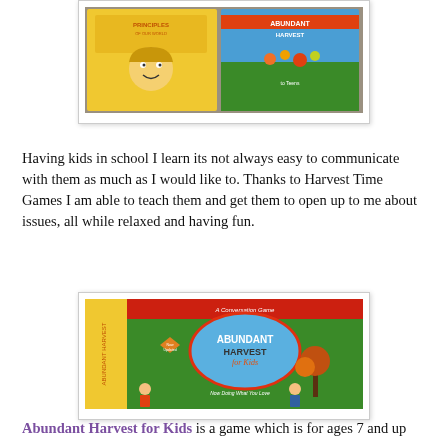[Figure (photo): Photo of two board game covers — 'Principles of Our World' (yellow, with cartoon child) and 'Abundant Harvest' (colorful, with harvest imagery)]
Having kids in school I learn its not always easy to communicate with them as much as I would like to. Thanks to Harvest Time Games I am able to teach them and get them to open up to me about issues, all while relaxed and having fun.
[Figure (photo): Close-up photo of the 'Abundant Harvest for Kids' board game box cover, showing colorful children playing, a tree, and text 'A Conversation Game, Abundant Harvest for Kids, Now Doing What You Love']
Abundant Harvest for Kids is a game which is for ages 7 and up